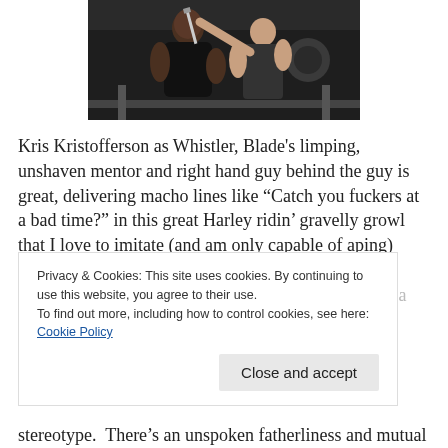[Figure (photo): Two people in a gym/fight scene — a muscular man in a black tank top being held at knifepoint by another person]
Kris Kristofferson as Whistler, Blade's limping, unshaven mentor and right hand guy behind the guy is great, delivering macho lines like “Catch you fuckers at a bad time?” in this great Harley ridin’ gravelly growl that I love to imitate (and am only capable of aping) when I’m struck with a chest cold. He spends most of the movie like a stereotype. There’s an unspoken fatherliness and mutual
Privacy & Cookies: This site uses cookies. By continuing to use this website, you agree to their use.
To find out more, including how to control cookies, see here: Cookie Policy